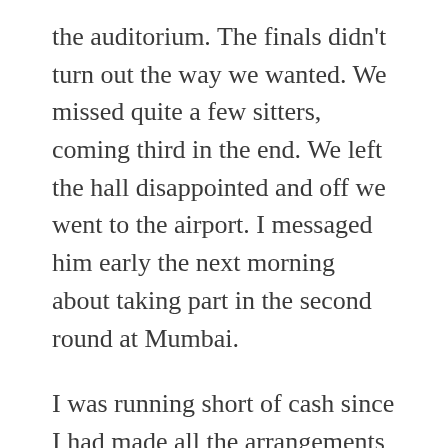the auditorium. The finals didn't turn out the way we wanted. We missed quite a few sitters, coming third in the end. We left the hall disappointed and off we went to the airport. I messaged him early the next morning about taking part in the second round at Mumbai.
I was running short of cash since I had made all the arrangements for a long Rajasthan trip.
But, something inside me was haunting...